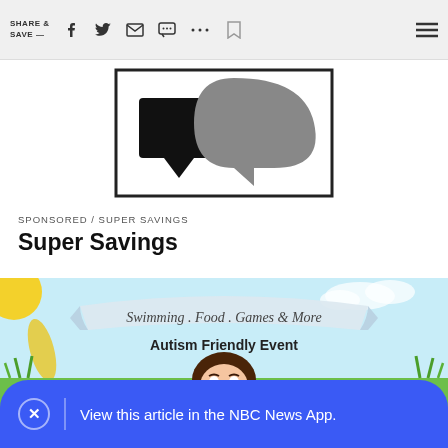SHARE & SAVE —
[Figure (logo): Two speech bubbles logo — one black rectangular and one dark grey rounded, partially cropped at top]
SPONSORED / SUPER SAVINGS
Super Savings
[Figure (illustration): Autism Friendly Event illustration with banner reading 'Swimming . Food . Games & More', child peeking up, sun and grass elements on light blue background]
View this article in the NBC News App.